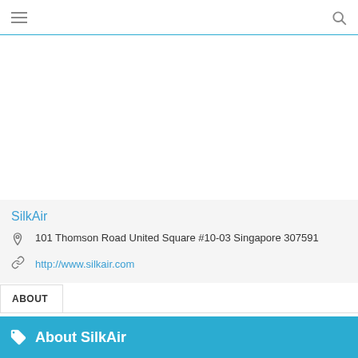≡  🔍
SilkAir
101 Thomson Road United Square #10-03 Singapore 307591
http://www.silkair.com
ABOUT
About SilkAir